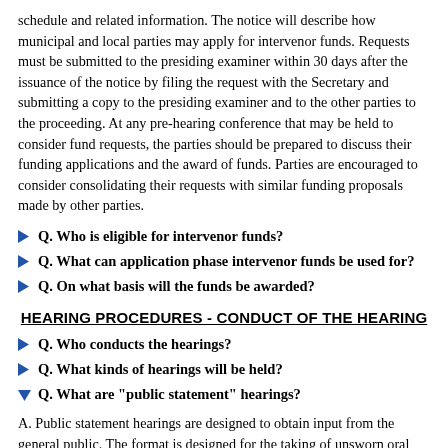schedule and related information. The notice will describe how municipal and local parties may apply for intervenor funds. Requests must be submitted to the presiding examiner within 30 days after the issuance of the notice by filing the request with the Secretary and submitting a copy to the presiding examiner and to the other parties to the proceeding. At any pre-hearing conference that may be held to consider fund requests, the parties should be prepared to discuss their funding applications and the award of funds. Parties are encouraged to consider consolidating their requests with similar funding proposals made by other parties.
Q. Who is eligible for intervenor funds?
Q. What can application phase intervenor funds be used for?
Q. On what basis will the funds be awarded?
HEARING PROCEDURES - CONDUCT OF THE HEARING
Q. Who conducts the hearings?
Q. What kinds of hearings will be held?
Q. What are "public statement" hearings?
A. Public statement hearings are designed to obtain input from the general public. The format is designed for the taking of unsworn oral statements, although written statements ordinarily may also be